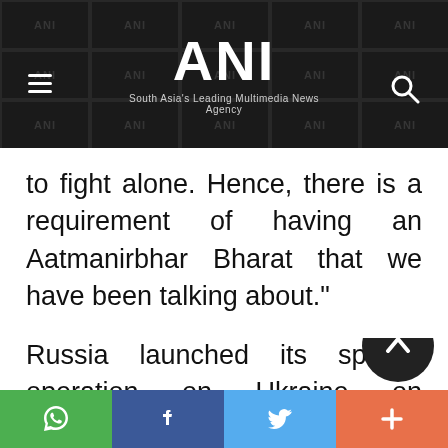ANI – South Asia's Leading Multimedia News Agency
to fight alone. Hence, there is a requirement of having an Aatmanirbhar Bharat that we have been talking about."
Russia launched its special operation on Ukraine on February 24 following which the US and Europe have imposed sanctions on Moscow condemning its war on the East European country.